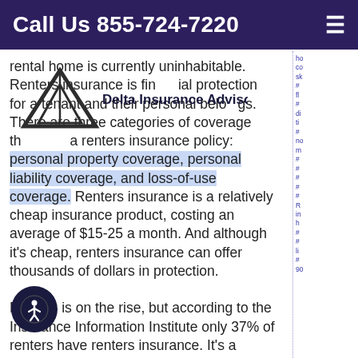Call Us 855-724-7220
[Figure (logo): Delta Insurance Advisors logo with triangle symbol and text]
rental home is currently uninhabitable. Renters insurance is financial protection for a tenant and their personal belongings. There are three categories of coverage that make up a renters insurance policy: personal property coverage, personal liability coverage, and loss-of-use coverage. Renters insurance is a relatively cheap insurance product, costing an average of $15-25 a month. And although it's cheap, renters insurance can offer thousands of dollars in protection.
Renting is on the rise, but according to the Insurance Information Institute only 37% of renters have renters insurance. It's a common myth that landlords will insure renters belongings (they won't), or that renters insurance isn't worth it. Your landlord might require you to buy renters insurance, but even if they don't it's still a good idea to get a policy. Your landlord will have their own insurance to protect the physical building you are living in, but that insurance will not extend to you